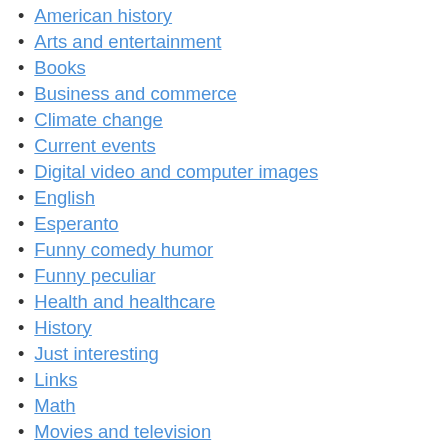American history
Arts and entertainment
Books
Business and commerce
Climate change
Current events
Digital video and computer images
English
Esperanto
Funny comedy humor
Funny peculiar
Health and healthcare
History
Just interesting
Links
Math
Movies and television
News and politics
Personal
Philosophy and religion